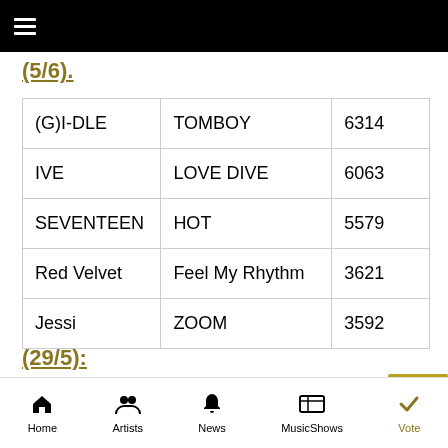☰ (menu icon)
(5/6).
| (G)I-DLE | TOMBOY | 6314 |
| IVE | LOVE DIVE | 6063 |
| SEVENTEEN | HOT | 5579 |
| Red Velvet | Feel My Rhythm | 3621 |
| Jessi | ZOOM | 3592 |
(29/5):
Home  Artists  News  MusicShows  Vote